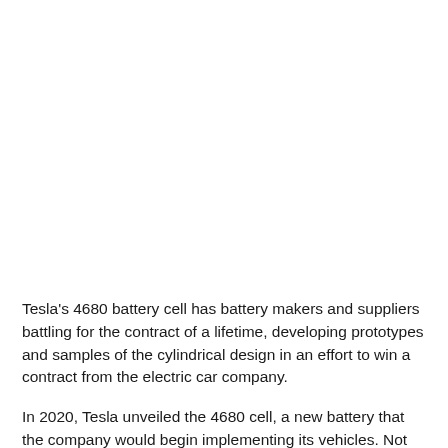Tesla's 4680 battery cell has battery makers and suppliers battling for the contract of a lifetime, developing prototypes and samples of the cylindrical design in an effort to win a contract from the electric car company.
In 2020, Tesla unveiled the 4680 cell, a new battery that the company would begin implementing its vehicles. Not only did Tesla